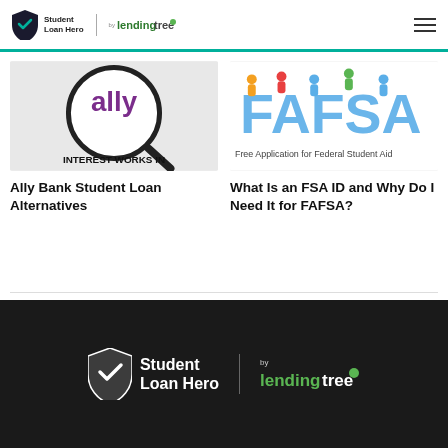Student Loan Hero by LendingTree
[Figure (illustration): Magnifying glass over the word 'ally' with text 'INTEREST WORKS IN' below]
Ally Bank Student Loan Alternatives
[Figure (illustration): FAFSA logo with cartoon characters and text 'Free Application for Federal Student Aid']
What Is an FSA ID and Why Do I Need It for FAFSA?
Student Loan Hero by LendingTree